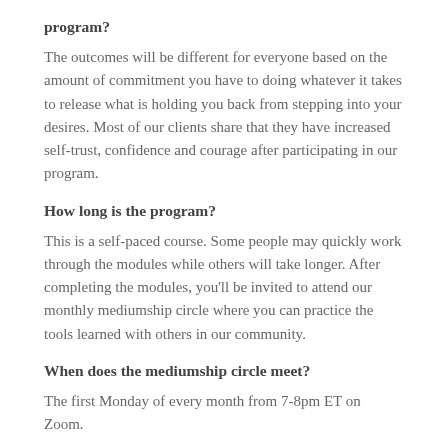program?
The outcomes will be different for everyone based on the amount of commitment you have to doing whatever it takes to release what is holding you back from stepping into your desires. Most of our clients share that they have increased self-trust, confidence and courage after participating in our program.
How long is the program?
This is a self-paced course. Some people may quickly work through the modules while others will take longer. After completing the modules, you'll be invited to attend our monthly mediumship circle where you can practice the tools learned with others in our community.
When does the mediumship circle meet?
The first Monday of every month from 7-8pm ET on Zoom.
Do you offer 1:1 support? I think I'd rather just work with